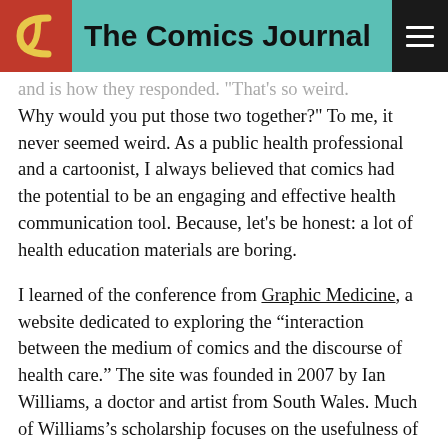The Comics Journal
and is how they responded. "That's so weird. Why would you put those two together?" To me, it never seemed weird. As a public health professional and a cartoonist, I always believed that comics had the potential to be an engaging and effective health communication tool. Because, let's be honest: a lot of health education materials are boring.
I learned of the conference from Graphic Medicine, a website dedicated to exploring the "interaction between the medium of comics and the discourse of health care." The site was founded in 2007 by Ian Williams, a doctor and artist from South Wales. Much of Williams's scholarship focuses on the usefulness of medical narratives in graphic form for health care professionals, caregivers, and patients. In 2012, he was joined by MK Czerwiec, RN, MA, who is also